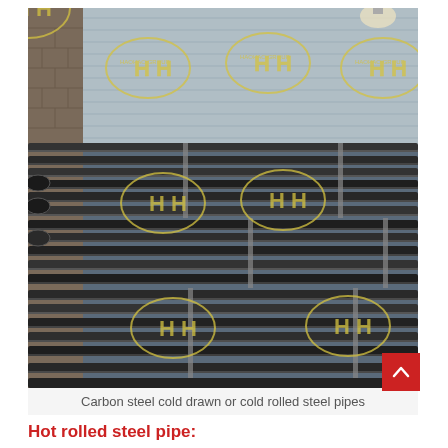[Figure (photo): Photograph of bundled carbon steel pipes stacked in a warehouse/factory setting. The pipes are dark/black in color and arranged in multiple bundles bound with metal straps. Yellow 'HH' brand watermark logos are overlaid across the image in a repeating pattern. The background shows a corrugated metal wall and brick wall.]
Carbon steel cold drawn or cold rolled steel pipes
Hot rolled steel pipe: